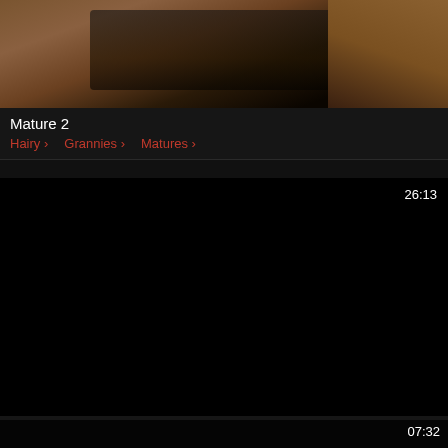[Figure (screenshot): Video thumbnail showing leather sofa scene, partially cropped]
Mature 2
Hairy > Grannies > Matures >
[Figure (screenshot): Black video thumbnail with duration 26:13 in top right]
British milf with big boobs and hairy fuckbox
Big Boobs > Masturbation > BBW >
[Figure (screenshot): Dark video thumbnail with duration 07:32 in top right, partially visible]